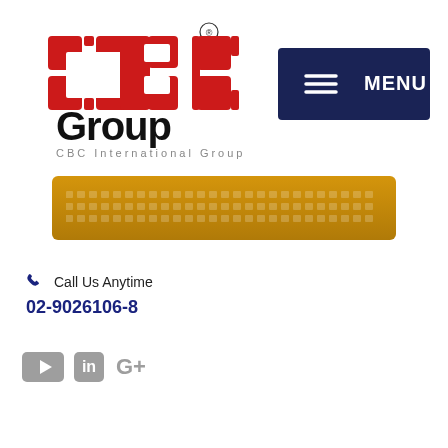[Figure (logo): CBC Group logo with red CBC letters and 'group' in black, 'CBC International Group' subtitle in gray]
[Figure (infographic): Dark navy blue MENU button with hamburger icon on right side of header]
[Figure (infographic): Golden/amber colored search bar with dotted pattern]
Call Us Anytime
02-9026106-8
[Figure (infographic): Social media icons: YouTube, LinkedIn, Google+]